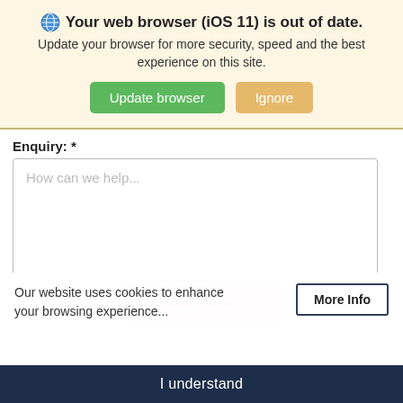[Figure (screenshot): Browser update warning banner with globe icon, bold text 'Your web browser (iOS 11) is out of date.', subtitle text, green 'Update browser' button and orange 'Ignore' button on a pale yellow background]
Enquiry: *
[Figure (screenshot): Empty textarea form field with placeholder text 'How can we help...']
Our website uses cookies to enhance your browsing experience...
More Info
Send Enquiry
I understand
0115 824 5197   Menu